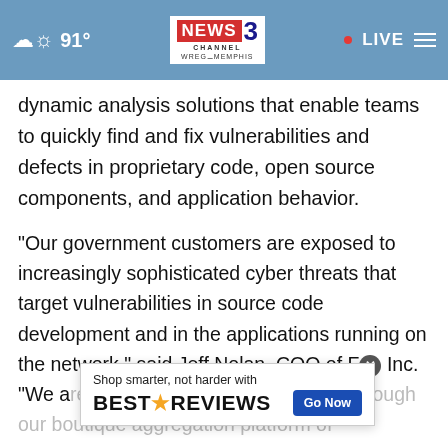[Figure (screenshot): News Channel 3 WREG Memphis website header bar with weather icon showing partly cloudy, temperature 91°, center logo, LIVE indicator with red dot, and hamburger menu icon on steel blue background.]
dynamic analysis solutions that enable teams to quickly find and fix vulnerabilities and defects in proprietary code, open source components, and application behavior.
"Our government customers are exposed to increasingly sophisticated cyber threats that target vulnerabilities in source code development and in the applications running on the network," said Jeff Nolan, COO of F[x] Inc. "We a[re able to address these threats] through our boutique aggregation platform of
[Figure (screenshot): Advertisement banner: 'Shop smarter, not harder with BESTREVIEWS' with a Go Now button in blue.]